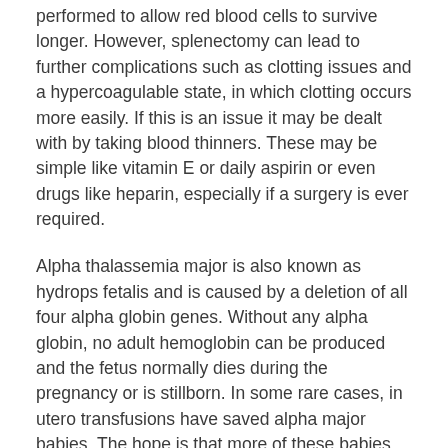performed to allow red blood cells to survive longer. However, splenectomy can lead to further complications such as clotting issues and a hypercoagulable state, in which clotting occurs more easily. If this is an issue it may be dealt with by taking blood thinners. These may be simple like vitamin E or daily aspirin or even drugs like heparin, especially if a surgery is ever required.
Alpha thalassemia major is also known as hydrops fetalis and is caused by a deletion of all four alpha globin genes. Without any alpha globin, no adult hemoglobin can be produced and the fetus normally dies during the pregnancy or is stillborn. In some rare cases, in utero transfusions have saved alpha major babies. The hope is that more of these babies can be diagnosed in the uterus and preemptive transfusions can begin.
Alpha thalassemia is difficult to detect in its carrier stages but if suspected, it can be verified by DNA testing.The importance of passing on the family history cannot be stressed enough. While carrier state